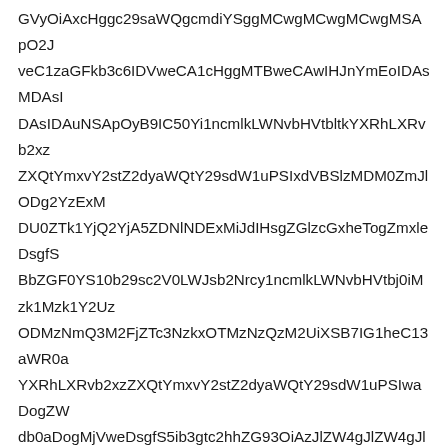GVyOiAxcHggc29saWQgcmdiYSggMCwgMCwgMCwgMSApO2J veC1zaGFkb3c6IDVweCA1cHggMTBweCAwIHJnYmEoIDAsMDAsI DAsIDAuNSApOyB9IC50Yi1ncmlkLWNvbHVtbltkYXRhLXRvb2xz ZXQtYmxvY2stZ2dyaWQtY29sdW1uPSIxdVBSlzMDM0ZmJlODg2YzExM DU0ZTk1YjQ2YjA5ZDNlNDExMiJdIHsgZGlzcGxheTogZmxleDsgfS BbZGF0YS10b29sc2V0LWJsb2Nrcy1ncmlkLWNvbHVtbj0iMzk1Mzk1Y2Uz ODMzNmQ3M2FjZTc3NzkxOTMzNzQzM2UiXSB7IG1heC13aWR0a YXRhLXRvb2xzZXQtYmxvY2stZ2dyaWQtY29sdW1uPSIwaDogZW db0aDogMjVweDsgfS5ib3gtc2hhZG93OiAzJlZW4gJlZW4gJlZW4gYW5 5kIChZXgtd2lkdGg6IDIwMHB4OyB9IC50Yi1ncmlkLWNvbHVtblsidGQ YXgtd2lkdGg6IDIwMHB4OyB9IC50Yi1ncmlkLWNvbHVtb lXgtZDNjNFgwYWxpZ Dc4MXB4OyBib3JkZXItcmFkaXVzOiAzJHsgZGlzcGxheTogZmxleDsgf dmZWNjdGlvbj0iYWxsIjogcmVjdCgwIDAgMHB4IDIwMHB4KTsgfSAud WxpZ25NlbWVudHM6IHN0cmV0Y2g7IH0gLnRiLWdyaWQtY29sdW1uW 0ZVJSdmZWNjdGlvbj0iaWxmZSI6IHJlY3QoMCAwIDEzJHsgZGlzcGxhe VtZWJiZWYtN2Y5OS00Z Dc4MXB4OyBsaW5lLWhlaWdodDogdGFibGUgaW5nbz0iMTIiIH0 YTNjdWhlZC1hbGxhdXRoZW50aWNhdGlvbj0iMTIiIGlubz0iMTIiIH0 WlsWVtZWJiZWYtN2Y5OS00ZjZlLTk3MTEtN2NiZjFjMTFjMjk0Iiw ldmVydGljYWwtYWxpZ25NlbWVudHM6IG1pZGRsZ TY2 ZXRWdlbG9jaXR5PXRydWUgdGFibGUgaW5nbz0i0i